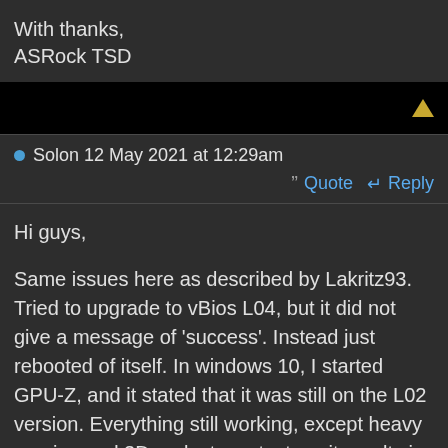With thanks,
ASRock TSD
[Figure (other): Black bar with a yellow/gold upward-pointing arrow triangle on the right side]
Solon 12 May 2021 at 12:29am
Quote  Reply
Hi guys,

Same issues here as described by Lakritz93. Tried to upgrade to vBios L04, but it did not give a message of 'success'. Instead just rebooted of itself. In windows 10, I started GPU-Z, and it stated that it was still on the L02 version. Everything still working, except heavy gaming and 3Dmark stress test, as it results in even more frequent black screen, reboot loops and sometimes fans going